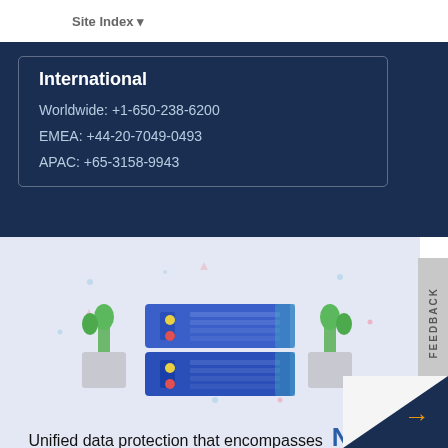Site Index
International
Worldwide: +1-650-238-6200
EMEA: +44-20-7049-0493
APAC: +65-3158-9943
[Figure (illustration): Illustration of NAS server rack with plants on either side on a light blue background]
Unified data protection that encompasses NAS backup and archiving for long-term data retention.